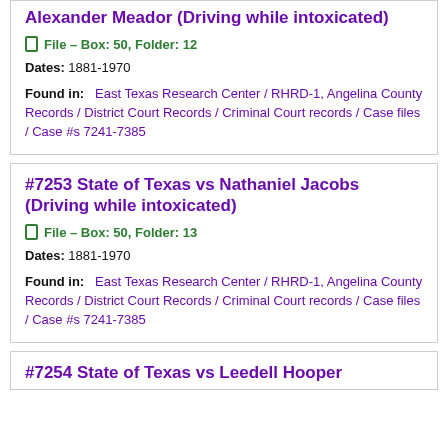Alexander Meador (Driving while intoxicated)
File – Box: 50, Folder: 12
Dates: 1881-1970
Found in: East Texas Research Center / RHRD-1, Angelina County Records / District Court Records / Criminal Court records / Case files / Case #s 7241-7385
#7253 State of Texas vs Nathaniel Jacobs (Driving while intoxicated)
File – Box: 50, Folder: 13
Dates: 1881-1970
Found in: East Texas Research Center / RHRD-1, Angelina County Records / District Court Records / Criminal Court records / Case files / Case #s 7241-7385
#7254 State of Texas vs Leedell Hooper